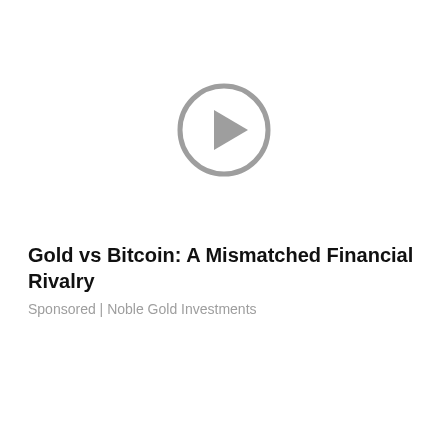[Figure (other): A gray circular play button icon (circle with a right-pointing triangle inside), centered near the top of the page.]
Gold vs Bitcoin: A Mismatched Financial Rivalry
Sponsored | Noble Gold Investments